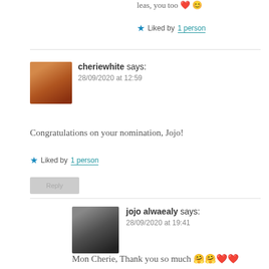leas, you too ❤️ 😊
Liked by 1 person
cheriewhite says:
28/09/2020 at 12:59
Congratulations on your nomination, Jojo!
Liked by 1 person
jojo alwaealy says:
28/09/2020 at 19:41
Mon Cherie, Thank you so much 🤗🤗❤️❤️